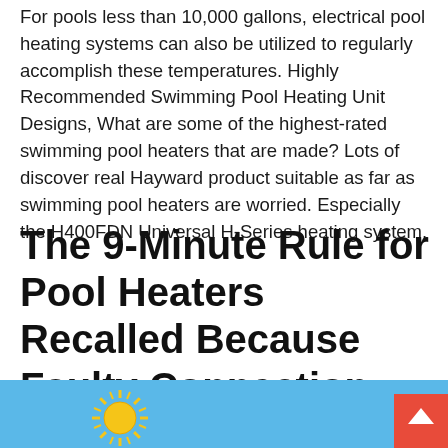For pools less than 10,000 gallons, electrical pool heating systems can also be utilized to regularly accomplish these temperatures. Highly Recommended Swimming Pool Heating Unit Designs, What are some of the highest-rated swimming pool heaters that are made? Lots of discover real Hayward product suitable as far as swimming pool heaters are worried. Especially the H400FDN Universal H-Series heating system.
The 9-Minute Rule for Pool Heaters Recalled Because Faulty Connection May Cause A ...
[Figure (illustration): Partial image of a swimming pool scene with a sun illustration on the left side and a blue sky background. A red scroll-to-top button with a white upward chevron is visible in the bottom-right corner.]